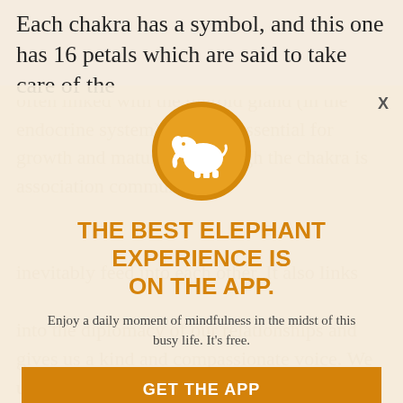Each chakra has a symbol, and this one has 16 petals which are said to take care of the
ears, nose, throat, neck, tongue and teeth. It is often linked with the thyroid gland (in the endocrine system) which is essential for growth and maturation through the chakra is associated with communications inevitably feed into each other. It also links into the diplomacy of our relationships and gives us a kind and compassionate voice. We ultimately...
[Figure (logo): Orange circle with white elephant silhouette — Elephant Journal app logo]
THE BEST ELEPHANT EXPERIENCE IS ON THE APP.
Enjoy a daily moment of mindfulness in the midst of this busy life. It's free.
GET THE APP
OPEN IN APP